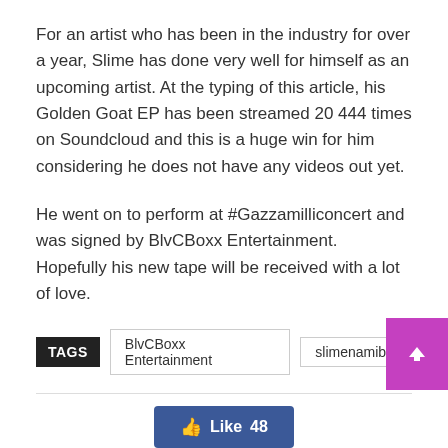For an artist who has been in the industry for over a year, Slime has done very well for himself as an upcoming artist. At the typing of this article, his Golden Goat EP has been streamed 20 444 times on Soundcloud and this is a huge win for him considering he does not have any videos out yet.
He went on to perform at #Gazzamilliconcert and was signed by BlvCBoxx Entertainment. Hopefully his new tape will be received with a lot of love.
TAGS  BlvCBoxx Entertainment  slimenamibia
[Figure (other): Social sharing buttons: Facebook Like (48), Facebook, Twitter, Pinterest, WhatsApp icons, and a scroll-to-top button]